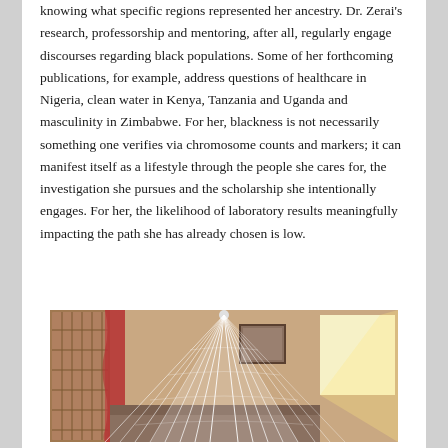knowing what specific regions represented her ancestry. Dr. Zerai's research, professorship and mentoring, after all, regularly engage discourses regarding black populations. Some of her forthcoming publications, for example, address questions of healthcare in Nigeria, clean water in Kenya, Tanzania and Uganda and masculinity in Zimbabwe. For her, blackness is not necessarily something one verifies via chromosome counts and markers; it can manifest itself as a lifestyle through the people she cares for, the investigation she pursues and the scholarship she intentionally engages. For her, the likelihood of laboratory results meaningfully impacting the path she has already chosen is low.
[Figure (photo): Indoor room photo showing a white mosquito net draped over a bed, with warm-toned walls, a window letting in light, and what appears to be a framed picture on the wall in the background.]